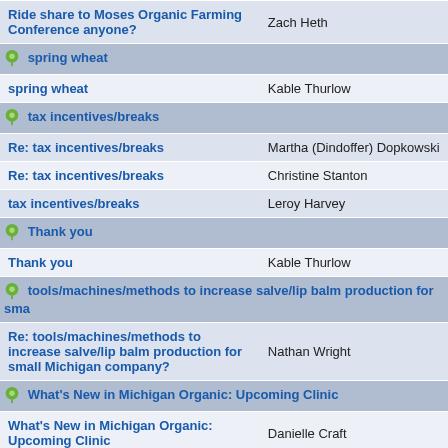| Subject | Author |
| --- | --- |
| Ride share to Moses Organic Farming Conference anyone? | Zach Heth |
| spring wheat (thread header) |  |
| spring wheat | Kable Thurlow |
| tax incentives/breaks (thread header) |  |
| Re: tax incentives/breaks | Martha (Dindoffer) Dopkowski |
| Re: tax incentives/breaks | Christine Stanton |
| tax incentives/breaks | Leroy Harvey |
| Thank you (thread header) |  |
| Thank you | Kable Thurlow |
| tools/machines/methods to increase salve/lip balm production for sma... (thread header) |  |
| Re: tools/machines/methods to increase salve/lip balm production for small Michigan company? | Nathan Wright |
| What's New in Michigan Organic: Upcoming Clinic (thread header) |  |
| What's New in Michigan Organic: Upcoming Clinic | Danielle Craft |
| What's New in Michigan Organic: Weekend Events (thread header) |  |
| What's New in Michigan Organic: | Danielle Craft |